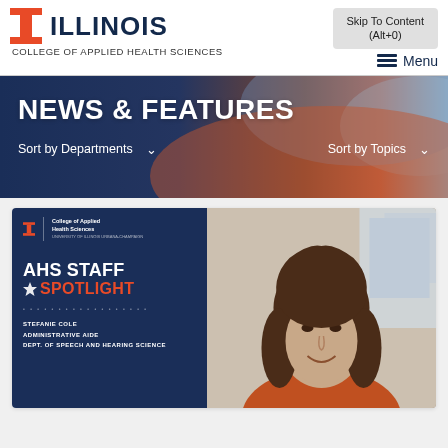[Figure (logo): University of Illinois block I logo in orange]
ILLINOIS
COLLEGE OF APPLIED HEALTH SCIENCES
Skip To Content (Alt+0)
Menu
NEWS & FEATURES
Sort by Departments ∨
Sort by Topics ∨
[Figure (photo): AHS Staff Spotlight promotional card featuring Stefanie Cole, Administrative Aide, Dept. of Speech and Hearing Science, with a photo of a woman with brown hair smiling]
STEFANIE COLE
ADMINISTRATIVE AIDE
DEPT. OF SPEECH AND HEARING SCIENCE